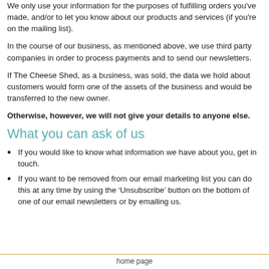We only use your information for the purposes of fulfilling orders you've made, and/or to let you know about our products and services (if you're on the mailing list).
In the course of our business, as mentioned above, we use third party companies in order to process payments and to send our newsletters.
If The Cheese Shed, as a business, was sold, the data we hold about customers would form one of the assets of the business and would be transferred to the new owner.
Otherwise, however, we will not give your details to anyone else.
What you can ask of us
If you would like to know what information we have about you, get in touch.
If you want to be removed from our email marketing list you can do this at any time by using the ‘Unsubscribe’ button on the bottom of one of our email newsletters or by emailing us.
home page